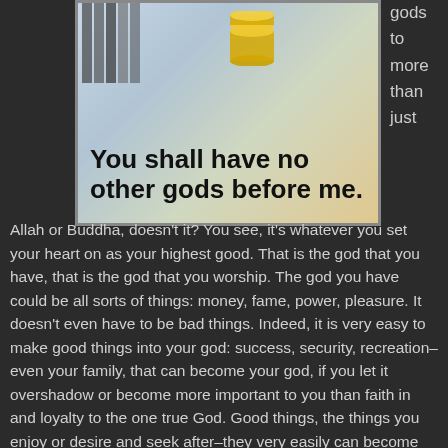[Figure (illustration): Illustration showing coins/money stacked with striped background elements, with bold text overlay reading 'You shall have no other gods before me.']
gods to more than just
Allah or Buddha, doesn't it? You see, it's whatever you set your heart on as your highest good. That is the god that you have, that is the god that you worship. The god you have could be all sorts of things: money, fame, power, pleasure. It doesn't even have to be bad things. Indeed, it is very easy to make good things into your god: success, security, recreation–even your family, that can become your god, if you let it overshadow or become more important to you than faith in and loyalty to the one true God. Good things, the things you enjoy or desire and seek after–they very easily can become your god. And that then is idolatry. That is having another god. And that is a